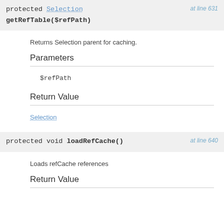protected Selection getRefTable($refPath)  at line 631
Returns Selection parent for caching.
Parameters
$refPath
Return Value
Selection
protected void loadRefCache()  at line 640
Loads refCache references
Return Value